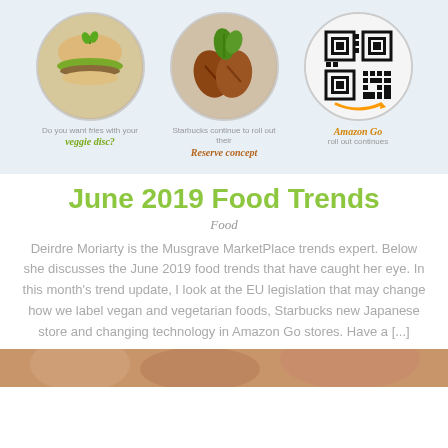[Figure (illustration): Banner with three circular images: a veggie burger, coffee beans, and a QR code/Amazon Go logo, each with captions below]
June 2019 Food Trends
Food
Deirdre Moriarty is the Musgrave MarketPlace trends expert. Below she discusses the June 2019 food trends that have caught her eye. In this month's trend update, I look at the EU legislation that may change how we label vegan and vegetarian foods, Starbucks new Japanese store and changing technology in Amazon Go stores. Have a [...]
[Figure (photo): Bottom strip showing a food photo]